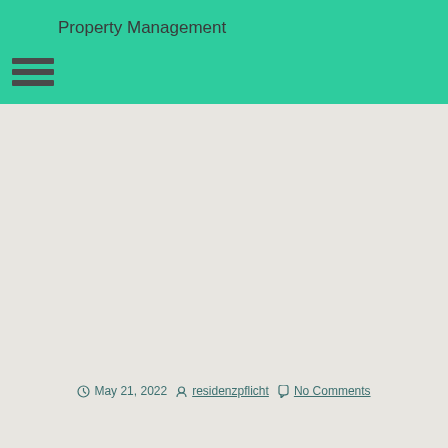Property Management
[Figure (other): Hamburger menu icon with three horizontal bars]
May 21, 2022   residenzpflicht   No Comments